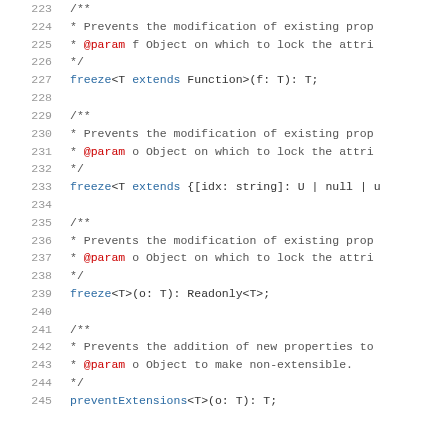[Figure (screenshot): Source code listing (TypeScript) showing lines 223-245 with JSDoc comments and freeze/preventExtensions method signatures. Line numbers on left, code on right. Keywords 'freeze' and 'extends' in blue, '@param' tags in red.]